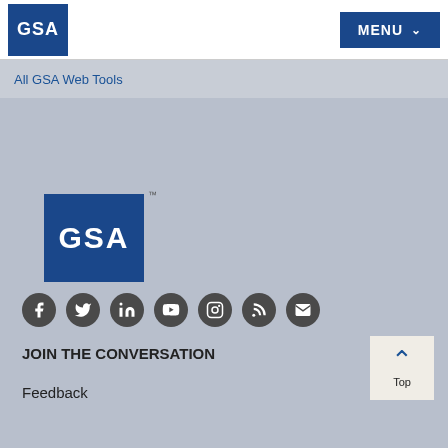[Figure (logo): GSA logo small white text on blue background in header]
[Figure (other): MENU dropdown button in blue]
All GSA Web Tools
[Figure (logo): GSA logo large white text on blue background in footer area]
[Figure (other): Social media icons row: Facebook, Twitter, LinkedIn, YouTube, Instagram, Blog/RSS, Email]
JOIN THE CONVERSATION
Feedback
[Figure (other): Top button with upward chevron arrow and label Top]